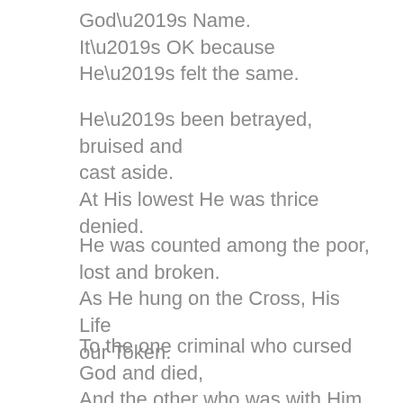God’s Name.
It’s OK because He’s felt the same.
He’s been betrayed, bruised and cast aside.
At His lowest He was thrice denied.
He was counted among the poor, lost and broken.
As He hung on the Cross, His Life our Token.
To the one criminal who cursed God and died,
And the other who was with Him in Paradise.